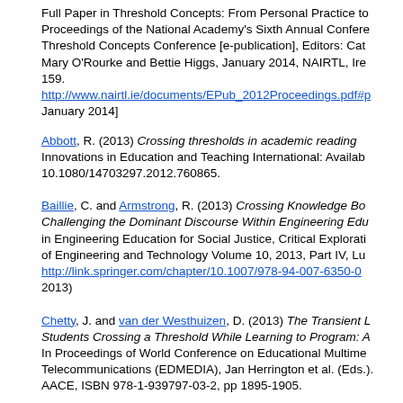Full Paper in Threshold Concepts: From Personal Practice to Proceedings of the National Academy's Sixth Annual Conference Threshold Concepts Conference [e-publication], Editors: Cath Mary O'Rourke and Bettie Higgs, January 2014, NAIRTL, Ire 159. http://www.nairtl.ie/documents/EPub_2012Proceedings.pdf# January 2014]
Abbott, R. (2013) Crossing thresholds in academic reading Innovations in Education and Teaching International: Available 10.1080/14703297.2012.760865.
Baillie, C. and Armstrong, R. (2013) Crossing Knowledge Boundaries: Challenging the Dominant Discourse Within Engineering Education in Engineering Education for Social Justice, Critical Explorations of Engineering and Technology Volume 10, 2013, Part IV, http://link.springer.com/chapter/10.1007/978-94-007-6350-0 2013)
Chetty, J. and van der Westhuizen, D. (2013) The Transient Learner: Students Crossing a Threshold While Learning to Program: In Proceedings of World Conference on Educational Multimedia, Telecommunications (EDMEDIA), Jan Herrington et al. (Eds). AACE, ISBN 978-1-939797-03-2, pp 1895-1905.